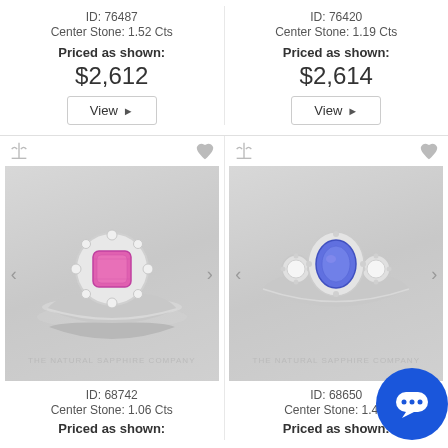ID: 76487
Center Stone: 1.52 Cts
Priced as shown:
$2,612
ID: 76420
Center Stone: 1.19 Cts
Priced as shown:
$2,614
[Figure (photo): Pink sapphire halo engagement ring with diamond band set on white background, watermark: THE NATURAL SAPPHIRE COMPANY]
[Figure (photo): Blue tanzanite/sapphire three-stone engagement ring on white background, watermark: THE NATURAL SAPPHIRE COMPANY]
ID: 68742
Center Stone: 1.06 Cts
Priced as shown:
ID: 68650
Center Stone: 1.4...
Priced as shown: